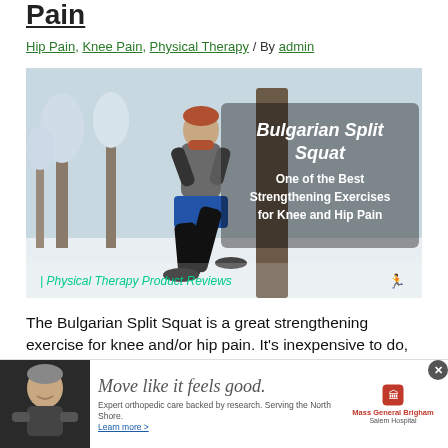Pain
Hip Pain, Knee Pain, Physical Therapy / By admin
[Figure (photo): Man performing a Bulgarian Split Squat lunge exercise outdoors in winter snow, wearing gray top and blue/black pants. Text overlay reads: Bulgarian Split Squat - One of the Best Strengthening Exercises for Knee and Hip Pain. Watermark: Physical Therapy Product Reviews.]
The Bulgarian Split Squat is a great strengthening exercise for knee and/or hip pain. It's inexpensive to do, targets hip and knee strength, works on balance, is easy on the back
[Figure (other): Advertisement banner: Move like it feels good. Expert orthopedic care backed by research. Serving the North Shore. Learn more. Mass General Brigham Salem Hospital. Photo of older man exercising.]